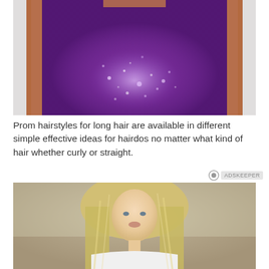[Figure (photo): Close-up photo of a woman wearing a sparkling purple sequined strapless top, with bare shoulders visible on either side against a light background.]
Prom hairstyles for long hair are available in different simple effective ideas for hairdos no matter what kind of hair whether curly or straight.
[Figure (photo): Photo of a blonde woman with long straight hair looking at the camera, wearing a white top, with a neutral background.]